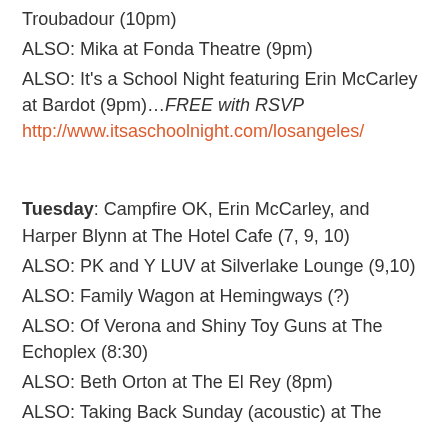Troubadour (10pm)
ALSO: Mika at Fonda Theatre (9pm)
ALSO: It's a School Night featuring Erin McCarley at Bardot (9pm)...FREE with RSVP http://www.itsaschoolnight.com/losangeles/
Tuesday: Campfire OK, Erin McCarley, and Harper Blynn at The Hotel Cafe (7, 9, 10)
ALSO: PK and Y LUV at Silverlake Lounge (9,10)
ALSO: Family Wagon at Hemingways (?)
ALSO: Of Verona and Shiny Toy Guns at The Echoplex (8:30)
ALSO: Beth Orton at The El Rey (8pm)
ALSO: Taking Back Sunday (acoustic) at The